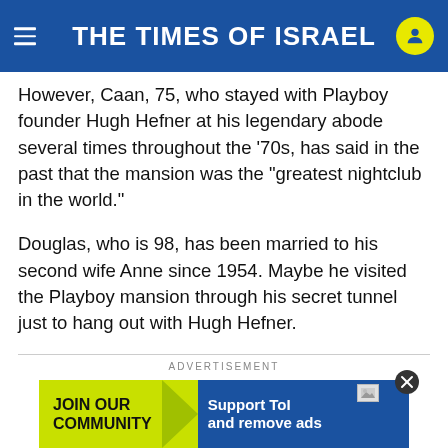THE TIMES OF ISRAEL
However, Caan, 75, who stayed with Playboy founder Hugh Hefner at his legendary abode several times throughout the ‘70s, has said in the past that the mansion was the “greatest nightclub in the world.”
Douglas, who is 98, has been married to his second wife Anne since 1954. Maybe he visited the Playboy mansion through his secret tunnel just to hang out with Hugh Hefner.
ADVERTISEMENT
[Figure (infographic): Advertisement banner: JOIN OUR COMMUNITY | Support ToI and remove ads]